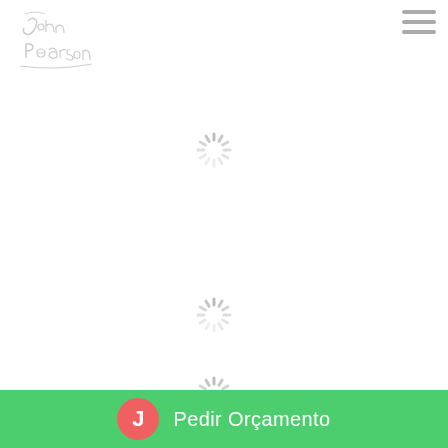[Figure (logo): Decorative script logo reading 'John Pearson' in light gray cursive lettering]
[Figure (other): Hamburger menu icon with three horizontal gray lines, top-right corner]
[Figure (other): Loading spinner icon (gray radial lines) in center of page, upper area]
[Figure (other): Loading spinner icon (gray radial lines) in center of page, middle area]
[Figure (other): Loading spinner icon (gray radial lines) in center of page, lower area]
Pedir Orçamento